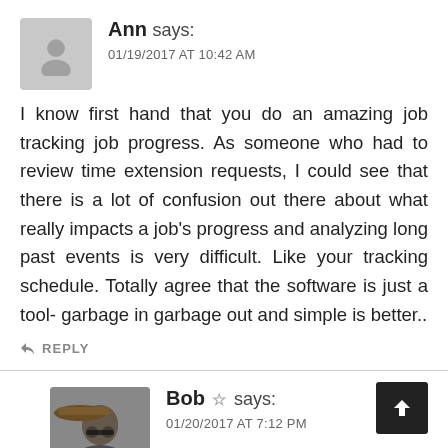Ann says:
01/19/2017 AT 10:42 AM
I know first hand that you do an amazing job tracking job progress. As someone who had to review time extension requests, I could see that there is a lot of confusion out there about what really impacts a job's progress and analyzing long past events is very difficult. Like your tracking schedule. Totally agree that the software is just a tool- garbage in garbage out and simple is better..
↩ REPLY
Bob ☆ says:
01/20/2017 AT 7:12 PM
Thanks Ann! Given the multitude of time extensions